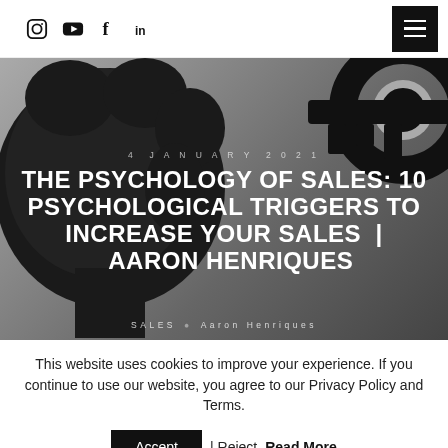Social icons: Instagram, YouTube, Facebook, LinkedIn | Menu button
[Figure (illustration): Hero image with black silhouette of a human brain/head on a grey gradient background, overlaid with a large black antique key. Date text '4 JANUARY 2021' and article title overlaid in white bold uppercase text. Bottom shows 'SALES  Aaron Henriques' meta line.]
THE PSYCHOLOGY OF SALES: 10 PSYCHOLOGICAL TRIGGERS TO INCREASE YOUR SALES | AARON HENRIQUES
This website uses cookies to improve your experience. If you continue to use our website, you agree to our Privacy Policy and Terms.
Accept | Reject Read More